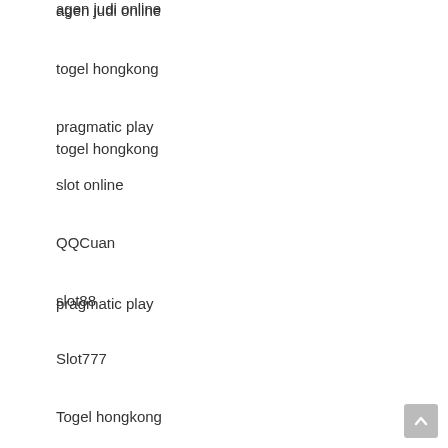agen judi online
togel hongkong
pragmatic play
slot online
QQCuan
slot88
Slot777
Togel hongkong